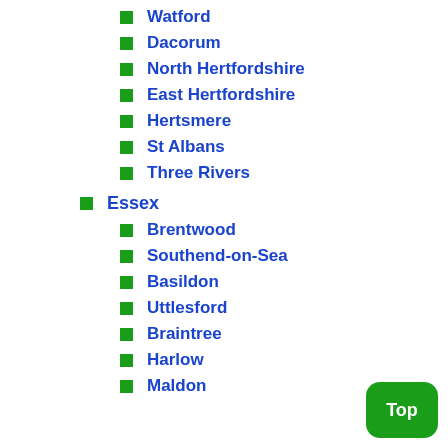Watford
Dacorum
North Hertfordshire
East Hertfordshire
Hertsmere
St Albans
Three Rivers
Essex
Brentwood
Southend-on-Sea
Basildon
Uttlesford
Braintree
Harlow
Maldon